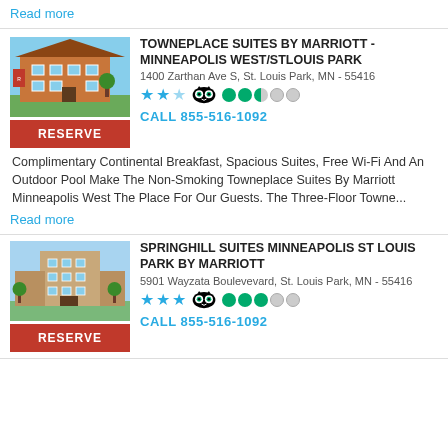Read more
TOWNEPLACE SUITES BY MARRIOTT -MINNEAPOLIS WEST/STLOUIS PARK
1400 Zarthan Ave S, St. Louis Park, MN - 55416
★★☆ [TripAdvisor owl] ●●◑○○
CALL 855-516-1092
Complimentary Continental Breakfast, Spacious Suites, Free Wi-Fi And An Outdoor Pool Make The Non-Smoking Towneplace Suites By Marriott Minneapolis West The Place For Our Guests. The Three-Floor Towne...
Read more
SPRINGHILL SUITES MINNEAPOLIS ST LOUIS PARK BY MARRIOTT
5901 Wayzata Boulevevard, St. Louis Park, MN - 55416
★★★ [TripAdvisor owl] ●●●○○
CALL 855-516-1092